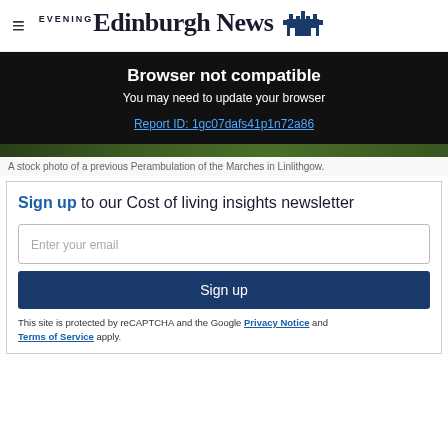Edinburgh Evening News
Browser not compatible
You may need to update your browser
Report ID: 1gc07dafs41p1n72a86
[Figure (photo): A stock photo of a previous Perambulation of the Marches in Linlithgow — dark green outdoor scene visible as a thin strip.]
A stock photo of a previous Perambulation of the Marches in Linlithgow.
Sign up to our Cost of living insights newsletter
Enter your email
Sign up
This site is protected by reCAPTCHA and the Google Privacy Notice and Terms of Service apply.